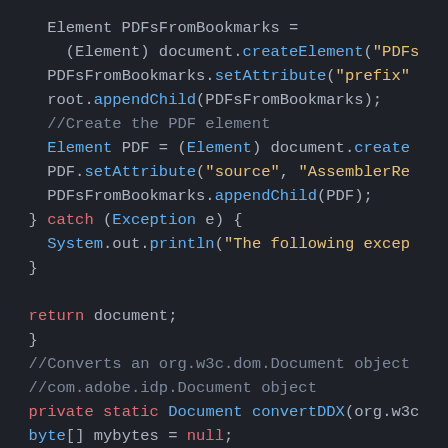[Figure (screenshot): Code editor screenshot showing Java code with syntax highlighting on dark background. Code includes element creation, setAttribute calls, appendChild calls, catch block, return statement, and method signature for convertDDX.]